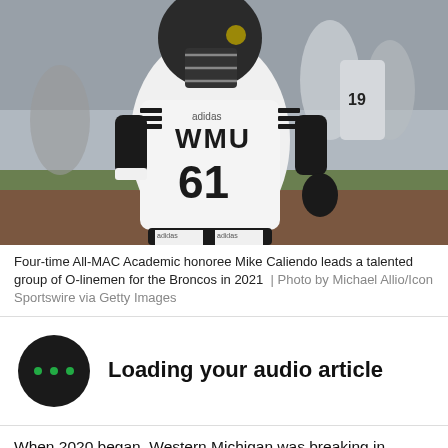[Figure (photo): Football player wearing WMU jersey number 61 with black arm pads standing on field during game, other players visible in background]
Four-time All-MAC Academic honoree Mike Caliendo leads a talented group of O-linemen for the Broncos in 2021  |  Photo by Michael Allio/Icon Sportswire via Getty Images
Loading your audio article
When 2020 began, Western Michigan was breaking in